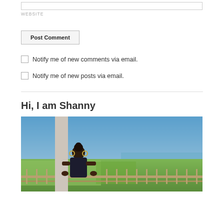WEBSITE
Post Comment
Notify me of new comments via email.
Notify me of new posts via email.
Hi, I am Shanny
[Figure (photo): A woman with hair in a bun, wearing hoop earrings, standing on a balcony or terrace with a railing, with a landscape and blue sky in the background including greenery, fields, and what appears to be a coastline.]